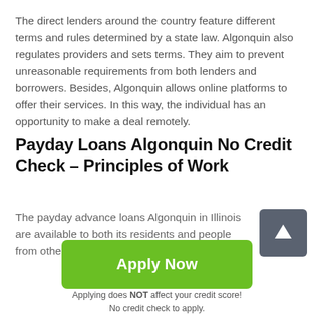The direct lenders around the country feature different terms and rules determined by a state law. Algonquin also regulates providers and sets terms. They aim to prevent unreasonable requirements from both lenders and borrowers. Besides, Algonquin allows online platforms to offer their services. In this way, the individual has an opportunity to make a deal remotely.
Payday Loans Algonquin No Credit Check – Principles of Work
The payday advance loans Algonquin in Illinois are available to both its residents and people from other areas.
[Figure (other): Dark grey rounded square button with white upward arrow, used as a scroll-to-top button]
Apply Now
Applying does NOT affect your credit score!
No credit check to apply.